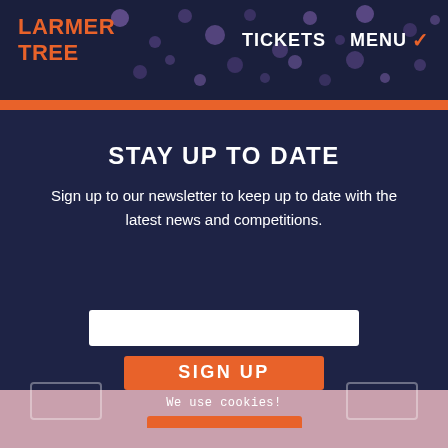LARMER TREE | TICKETS | MENU
STAY UP TO DATE
Sign up to our newsletter to keep up to date with the latest news and competitions.
[Figure (other): Email input field (white rectangle)]
SIGN UP
We use cookies!
ACCEPT
FIND OUT MORE